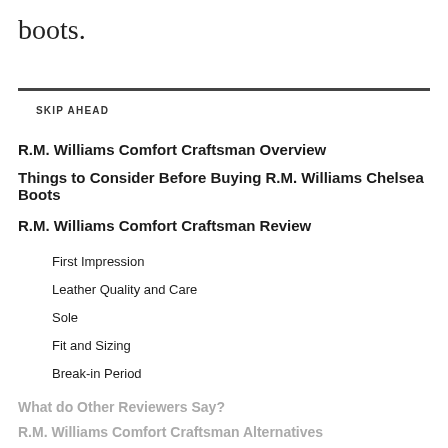boots.
SKIP AHEAD
R.M. Williams Comfort Craftsman Overview
Things to Consider Before Buying R.M. Williams Chelsea Boots
R.M. Williams Comfort Craftsman Review
First Impression
Leather Quality and Care
Sole
Fit and Sizing
Break-in Period
What do Other Reviewers Say?
R.M. Williams Comfort Craftsman Alternatives